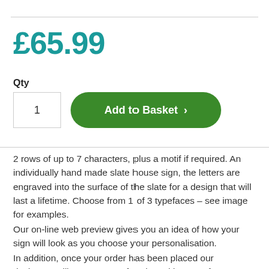£65.99
Qty
1
Add to Basket >
2 rows of up to 7 characters, plus a motif if required. An individually hand made slate house sign, the letters are engraved into the surface of the slate for a design that will last a lifetime. Choose from 1 of 3 typefaces – see image for examples.
Our on-line web preview gives you an idea of how your sign will look as you choose your personalisation.
In addition, once your order has been placed our designers will create a proof and send it to you for approval by email and will give you the opportunity to